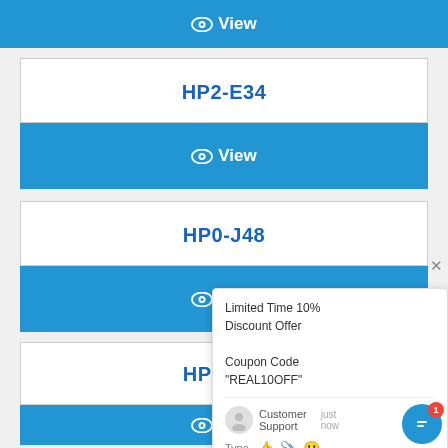[Figure (screenshot): Blue View button bar at top of page (partially visible)]
HP2-E34
[Figure (screenshot): Blue View button bar for HP2-E34]
HP0-J48
[Figure (screenshot): Blue View button bar for HP0-J48]
[Figure (screenshot): Chat popup overlay with Limited Time 10% Discount Offer, Coupon Code REAL10OFF, Customer Support chat widget]
HP0-J49
[Figure (screenshot): Blue View button bar for HP0-J49 (partially visible at bottom)]